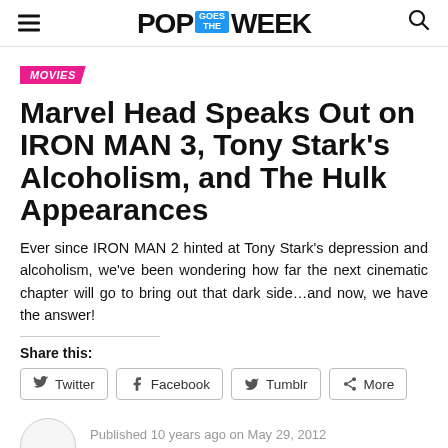POP GOES THE WEEK
MOVIES
Marvel Head Speaks Out on IRON MAN 3, Tony Stark’s Alcoholism, and The Hulk Appearances
Ever since IRON MAN 2 hinted at Tony Stark’s depression and alcoholism, we’ve been wondering how far the next cinematic chapter will go to bring out that dark side…and now, we have the answer!
Share this:
Twitter  Facebook  Tumblr  More
Published 10 years ago on May 29, 2012
By Michael Jayson